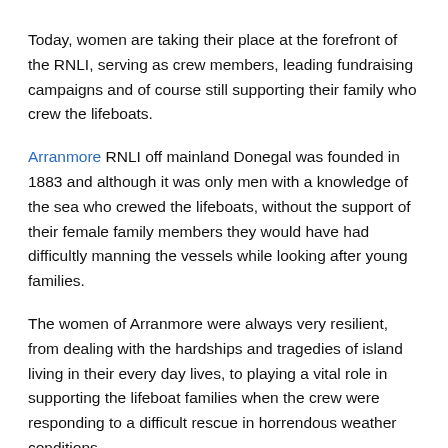Today, women are taking their place at the forefront of the RNLI, serving as crew members, leading fundraising campaigns and of course still supporting their family who crew the lifeboats.
Arranmore RNLI off mainland Donegal was founded in 1883 and although it was only men with a knowledge of the sea who crewed the lifeboats, without the support of their female family members they would have had difficultly manning the vessels while looking after young families.
The women of Arranmore were always very resilient, from dealing with the hardships and tragedies of island living in their every day lives, to playing a vital role in supporting the lifeboat families when the crew were responding to a difficult rescue in horrendous weather conditions.
An example of the type of rescues the Arranmore RNLI were involved in was in December 1940, when they rescued 16 crew...